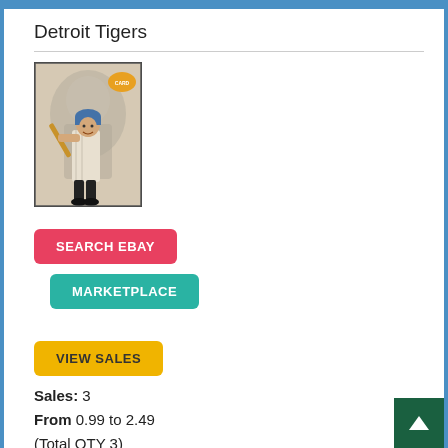Detroit Tigers
[Figure (photo): Baseball card showing a baseball player in a batting stance, Detroit Tigers, vintage style with a player portrait in the background]
SEARCH EBAY
MARKETPLACE
VIEW SALES
Sales: 3
From 0.99 to 2.49
(Total QTY 3)
Average 1.53